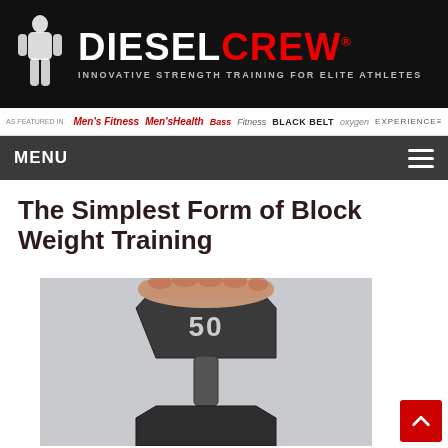DIESEL CREW .COM - INNOVATIVE STRENGTH TRAINING FOR ELITE ATHLETES
As featured in: Men's Fitness, Men's Health, Bass, Fitness, Black Belt, oxygen, EXPERIENCE, MUSCLE
MENU
The Simplest Form of Block Weight Training
[Figure (photo): A hand gripping the top of a 50-pound cast iron hex dumbbell standing upright, with a light grey background]